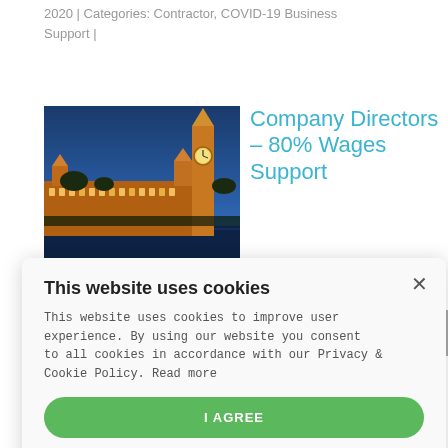2020 | Categories: Contractor, COVID-19 Business Support |
[Figure (photo): Night-time photo of the Houses of Parliament and Big Ben in London, illuminated in orange light against a blue dusk sky]
Company Directors – 80% Wages Support
eived the
This website uses cookies

This website uses cookies to improve user experience. By using our website you consent to all cookies in accordance with our Privacy & Cookie Policy. Read more

I AGREE

POWERED BY COOKIE-SCRIPT
Salaried company directors are eligible to